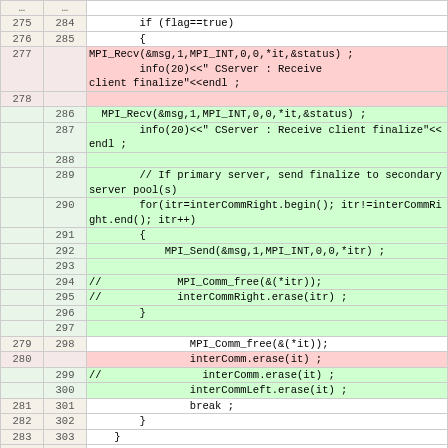| Old | New | Code |
| --- | --- | --- |
| … | … |  |
| 275 | 284 |         if (flag==true) |
| 276 | 285 |         { |
| 277 |  | MPI_Recv(&msg,1,MPI_INT,0,0,*it,&status) ; |
| 278 |  |                 info(20)<<" CServer : Receive client finalize"<<endl ; |
|  | 286 |   MPI_Recv(&msg,1,MPI_INT,0,0,*it,&status) ; |
|  | 287 |         info(20)<<" CServer : Receive client finalize"<<endl ; |
|  | 288 |  |
|  | 289 |         // If primary server, send finalize to secondary server pool(s) |
|  | 290 |         for(itr=interCommRight.begin(); itr!=interCommRight.end(); itr++) |
|  | 291 |         { |
|  | 292 |             MPI_Send(&msg,1,MPI_INT,0,0,*itr) ; |
|  | 293 |  |
|  | 294 | //            MPI_Comm_free(&(*itr)); |
|  | 295 | //            interCommRight.erase(itr) ; |
|  | 296 |         } |
|  | 297 |  |
| 279 | 298 |                 MPI_Comm_free(&(*it)); |
| 280 |  |                 interComm.erase(it) ; |
|  | 299 | //                interComm.erase(it) ; |
|  | 300 |                 interCommLeft.erase(it) ; |
| 281 | 301 |                 break ; |
| 282 | 302 |         } |
| 283 | 303 |     } |
| 284 | 304 |  |
| 285 |  |             if (interComm.empty()) |